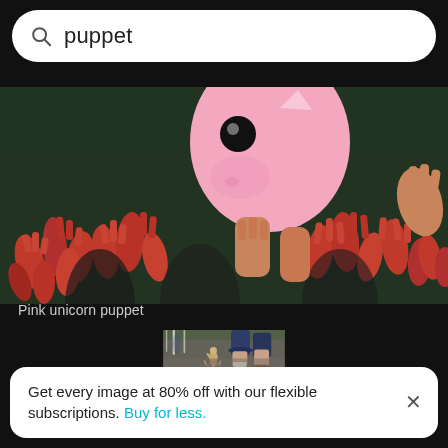puppet
[Figure (photo): Crowd of people with hands raised holding red puppet hands, a pink unicorn puppet visible in the center above the crowd]
Pink unicorn puppet
[Figure (photo): Wooden articulated mannequin figure running on pavement with blurred legs of a person in blue shorts and sandals in the background]
Get every image at 80% off with our flexible subscriptions. Buy for less.